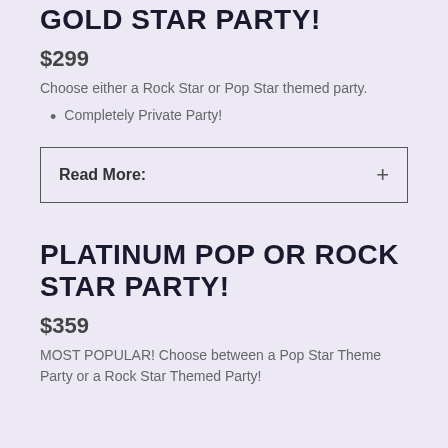GOLD STAR PARTY!
$299
Choose either a Rock Star or Pop Star themed party.
Completely Private Party!
Read More: +
PLATINUM POP OR ROCK STAR PARTY!
$359
MOST POPULAR! Choose between a Pop Star Theme Party or a Rock Star Themed Party!